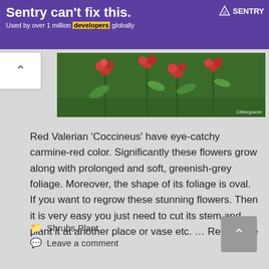[Figure (photo): Purple advertisement banner for Sentry with headline 'Sentry can't fix this.' and subtext 'Used by over 1 million developers globally' with Sentry logo on the right]
[Figure (photo): Close-up photo of red Valerian 'Coccineus' flowers with green foliage background. Watermark 'CMacgranis' visible in bottom-right corner.]
Red Valerian ‘Coccineus’ have eye-catchy carmine-red color. Significantly these flowers grow along with prolonged and soft, greenish-grey foliage. Moreover, the shape of its foliage is oval. If you want to regrow these stunning flowers. Then it is very easy you just need to cut its stem and plant it at another place or vase etc. … Read more
Shrubs Plant
Leave a comment